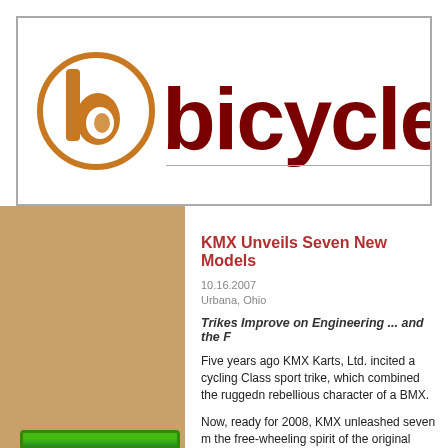[Figure (logo): Bicycling website logo with orange circular 'b' icon and dark red 'bicycle' text]
[Figure (infographic): Green advertisement banner reading 'FREE bike chain recycling!' with a globe graphic]
KMX Unveils Seven New Models
10.16.2007
Urbana, Ohio
Trikes Improve on Engineering ... and the F
Five years ago KMX Karts, Ltd. incited a cycling Class sport trike, which combined the ruggedness rebellious character of a BMX.
Now, ready for 2008, KMX unleashed seven n the free-wheeling spirit of the original trikes, a